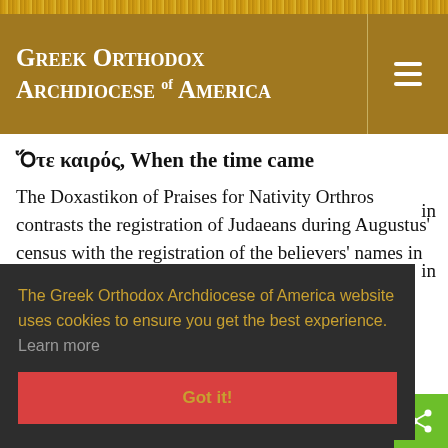Greek Orthodox Archdiocese of America
Ὅτε καιρός, When the time came
The Doxastikon of Praises for Nativity Orthros contrasts the registration of Judaeans during Augustus' census with the registration of the believers' names in heaven as well as the
The Greek Orthodox Archdiocese of America website uses cookies to ensure you get the best experience. Learn more
Got it!
Menu , Come O Christia